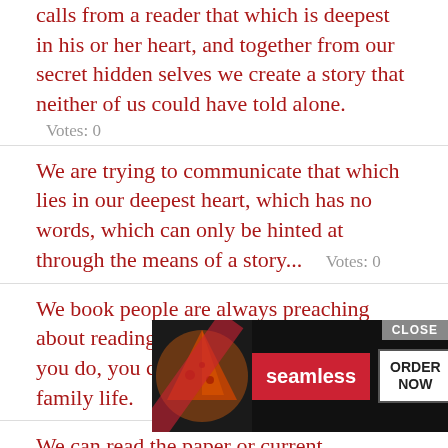calls from a reader that which is deepest in his or her heart, and together from our secret hidden selves we create a story that neither of us could have told alone.
Votes: 0
We are trying to communicate that which lies in our deepest heart, which has no words, which can only be hinted at through the means of a story... Votes: 0
We book people are always preaching about reading aloud to children, but unless you do, you can't realize how it enriches family life. Votes: 0
We can read the paper or current magazines and learn about national and world events, think about controversial ideas, consider other people's perspectives, and in so doing find our own opinions and respections. We can read for pure delight, and if we do this as a family or classroom or other group we can build
[Figure (other): Seamless food ordering advertisement banner with pizza image, 'seamless' logo in red, and 'ORDER NOW' button, overlaid with a CLOSE button]